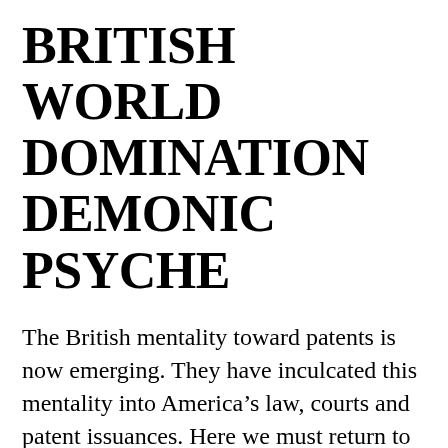BRITISH WORLD DOMINATION DEMONIC PSYCHE
The British mentality toward patents is now emerging. They have inculcated this mentality into America’s law, courts and patent issuances. Here we must return to the evidence that a patent is the exclusive domain of lawyers.
This begs the question: